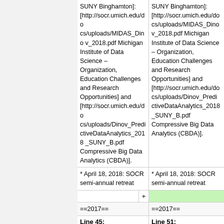| Left | Right |
| --- | --- |
| SUNY Binghamton]: [http://socr.umich.edu/docs/uploads/MIDAS_Dinov_2018.pdf Michigan Institute of Data Science – Organization, Education Challenges and Research Opportunities] and [http://socr.umich.edu/docs/uploads/Dinov_PredictiveDataAnalytics_2018_SUNY_B.pdf Compressive Big Data Analytics (CBDA)]. | SUNY Binghamton]: [http://socr.umich.edu/docs/uploads/MIDAS_Dinov_2018.pdf Michigan Institute of Data Science – Organization, Education Challenges and Research Opportunities] and [http://socr.umich.edu/docs/uploads/Dinov_PredictiveDataAnalytics_2018_SUNY_B.pdf Compressive Big Data Analytics (CBDA)]. |
| * April 18, 2018: SOCR semi-annual retreat | * April 18, 2018: SOCR semi-annual retreat |
| (added row) | + |
| ==2017== | ==2017== |
| Line 45: | Line 51: |
| * Mar 16-17, 2017: The principals (Rich Gonzales, Ivo Dinov | * Mar 16-17, 2017: The principals (Rich Gonzales, Ivo Dinov |